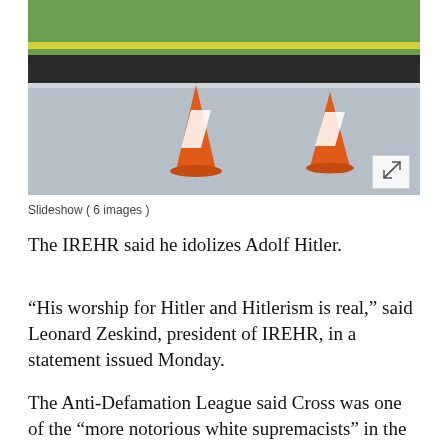[Figure (photo): Photo of two orange traffic cones on a wet road surface with yellow police tape and green grass in the background. A small expand/fullscreen icon is in the bottom-right corner of the image.]
Slideshow ( 6 images )
The IREHR said he idolizes Adolf Hitler.
“His worship for Hitler and Hitlerism is real,” said Leonard Zeskind, president of IREHR, in a statement issued Monday.
The Anti-Defamation League said Cross was one of the “more notorious white supremacists” in the United States in the early 1980s, though his involvement over the last decade has been on the periphery of the white